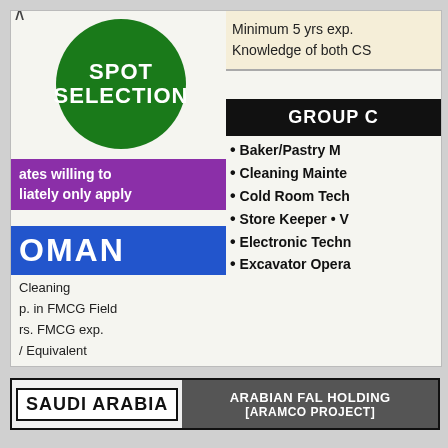[Figure (other): Green circle badge with 'SPOT SELECTION' text in white]
ates willing to liately only apply
OMAN
Cleaning
p. in FMCG Field
rs. FMCG exp.
/ Equivalent
related field
Minimum 5 yrs exp.
Knowledge of both CS
GROUP C
Baker/Pastry M
Cleaning Mainte
Cold Room Tech
Store Keeper • V
Electronic Techn
Excavator Opera
SAUDI ARABIA   ARABIAN FAL HOLDING [ARAMCO PROJECT]